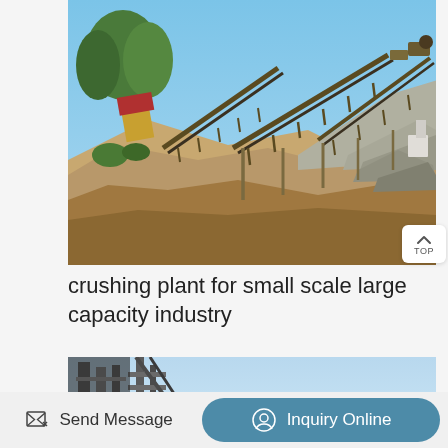[Figure (photo): Outdoor industrial crushing plant with conveyor belts, heavy machinery, and piles of crushed stone/gravel. Trees and blue sky visible in background.]
crushing plant for small scale large capacity industry
[Figure (photo): Partial view of industrial crushing/screening structure with metal scaffolding against a light blue sky.]
Send Message
Inquiry Online